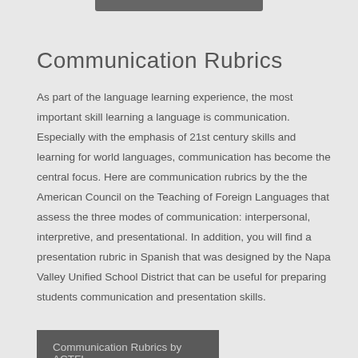Communication Rubrics
As part of the language learning experience, the most important skill learning a language is communication. Especially with the emphasis of 21st century skills and learning for world languages, communication has become the central focus. Here are communication rubrics by the the American Council on the Teaching of Foreign Languages that assess the three modes of communication: interpersonal, interpretive, and presentational. In addition, you will find a presentation rubric in Spanish that was designed by the Napa Valley Unified School District that can be useful for preparing students communication and presentation skills.
Communication Rubrics by ACTFL
Presentation Rubric by NVUSD (Spanish)